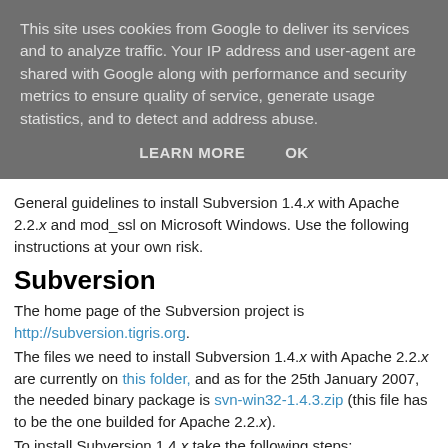This site uses cookies from Google to deliver its services and to analyze traffic. Your IP address and user-agent are shared with Google along with performance and security metrics to ensure quality of service, generate usage statistics, and to detect and address abuse.
LEARN MORE   OK
General guidelines to install Subversion 1.4.x with Apache 2.2.x and mod_ssl on Microsoft Windows. Use the following instructions at your own risk.
Subversion
The home page of the Subversion project is http://subversion.tigris.org.
The files we need to install Subversion 1.4.x with Apache 2.2.x are currently on this folder, and as for the 25th January 2007, the needed binary package is svn-win32-1.4.3.zip (this file has to be the one builded for Apache 2.2.x).
To install Subversion 1.4.x take the following steps:
Unzip the svn-win32-1.4.3.zip file then move its content on a directory as %ProgramFiles%\Subversion (or
%ProgramFiles%\Subversion (or